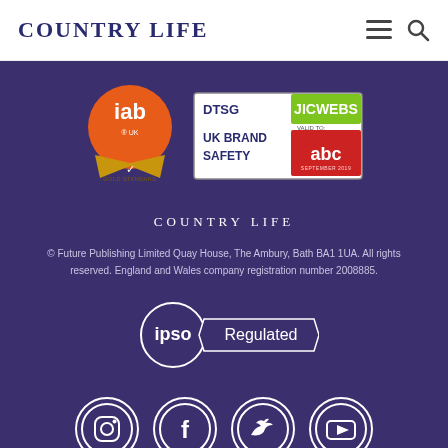COUNTRY LIFE
[Figure (logo): IAB UK certified gold badge logo (orange circle)]
[Figure (logo): DTSG JICWebs UK Brand Safety certified badge with ABC logo, valid to September 2019]
COUNTRY LIFE
© Future Publishing Limited Quay House, The Ambury, Bath BA1 1UA. All rights reserved. England and Wales company registration number 2008885.
[Figure (logo): IPSO Regulated badge]
[Figure (logo): Social media icons: Instagram, Facebook, Twitter, YouTube]